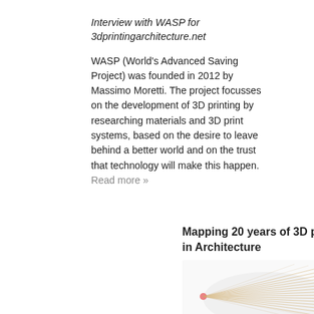Interview with WASP for 3dprintingarchitecture.net
WASP (World's Advanced Saving Project) was founded in 2012 by Massimo Moretti. The project focusses on the development of 3D printing by researching materials and 3D print systems, based on the desire to leave behind a better world and on the trust that technology will make this happen. Read more »
Mapping 20 years of 3D printing in Architecture
[Figure (infographic): A timeline/map diagram showing 20 years of 3D printing in architecture, with radiating lines from a point on the left leading to a cluster of dots and labels on the right side, representing projects and milestones over time.]
Last years we have seen a boom of projects, researches and other initiatives in the field of 3d printing related to architecture. In order to